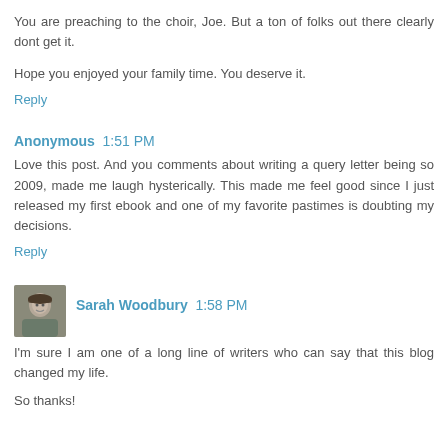You are preaching to the choir, Joe. But a ton of folks out there clearly dont get it.
Hope you enjoyed your family time. You deserve it.
Reply
Anonymous  1:51 PM
Love this post. And you comments about writing a query letter being so 2009, made me laugh hysterically. This made me feel good since I just released my first ebook and one of my favorite pastimes is doubting my decisions.
Reply
Sarah Woodbury  1:58 PM
I'm sure I am one of a long line of writers who can say that this blog changed my life.
So thanks!